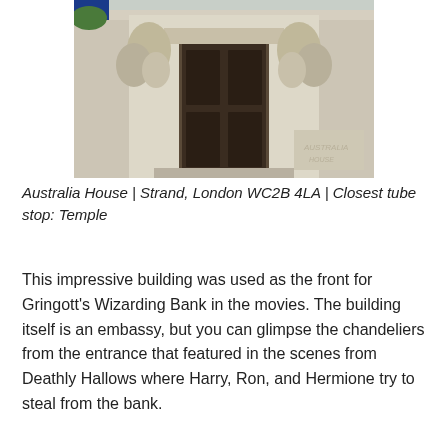[Figure (photo): Photograph of Australia House exterior showing classical stone architecture with sculpted figures flanking a large dark doorway, ornate decorative carvings, and columns.]
Australia House | Strand, London WC2B 4LA | Closest tube stop: Temple
This impressive building was used as the front for Gringott's Wizarding Bank in the movies. The building itself is an embassy, but you can glimpse the chandeliers from the entrance that featured in the scenes from Deathly Hallows where Harry, Ron, and Hermione try to steal from the bank.